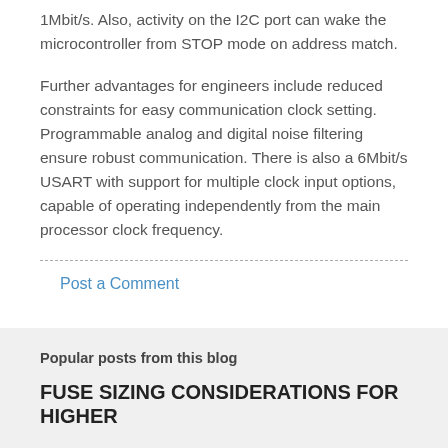1Mbit/s. Also, activity on the I2C port can wake the microcontroller from STOP mode on address match.
Further advantages for engineers include reduced constraints for easy communication clock setting. Programmable analog and digital noise filtering ensure robust communication. There is also a 6Mbit/s USART with support for multiple clock input options, capable of operating independently from the main processor clock frequency.
Post a Comment
Popular posts from this blog
FUSE SIZING CONSIDERATIONS FOR HIGHER